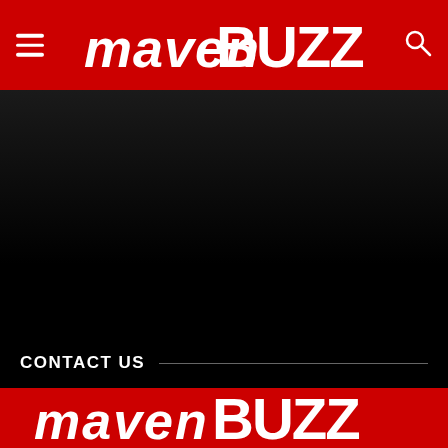MavenBuzz – header navigation bar with logo, menu, and search
[Figure (illustration): Dark/black background section, appears to be a video embed area or hero image placeholder]
CONTACT US
[Figure (logo): MavenBuzz logo on red background in footer]